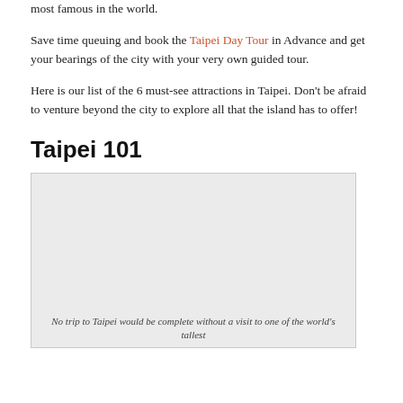most famous in the world.
Save time queuing and book the Taipei Day Tour in Advance and get your bearings of the city with your very own guided tour.
Here is our list of the 6 must-see attractions in Taipei. Don't be afraid to venture beyond the city to explore all that the island has to offer!
Taipei 101
[Figure (photo): Photo of Taipei 101 or related Taipei scene]
No trip to Taipei would be complete without a visit to one of the world's tallest buildings.